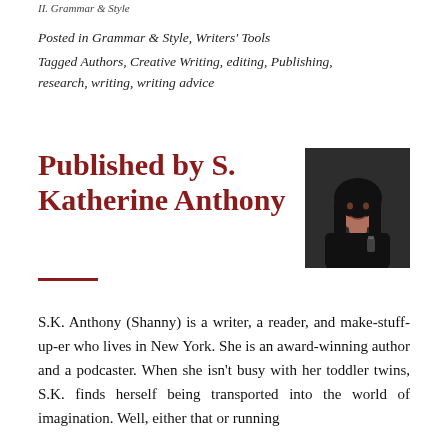II. Grammar & Style
Posted in Grammar & Style, Writers' Tools
Tagged Authors, Creative Writing, editing, Publishing, research, writing, writing advice
Published by S. Katherine Anthony
[Figure (photo): Portrait photo of S. Katherine Anthony, a woman with long dark hair, dark clothing, holding a glass, photographed indoors]
S.K. Anthony (Shanny) is a writer, a reader, and make-stuff-up-er who lives in New York. She is an award-winning author and a podcaster. When she isn't busy with her toddler twins, S.K. finds herself being transported into the world of imagination. Well, either that or running